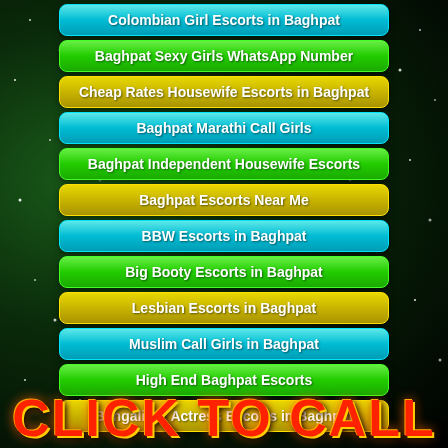Colombian Girl Escorts in Baghpat
Baghpat Sexy Girls WhatsApp Number
Cheap Rates Housewife Escorts in Baghpat
Baghpat Marathi Call Girls
Baghpat Independent Housewife Escorts
Baghpat Escorts Near Me
BBW Escorts in Baghpat
Big Booty Escorts in Baghpat
Lesbian Escorts in Baghpat
Muslim Call Girls in Baghpat
High End Baghpat Escorts
Bengali TV Actress Escorts in Baghpat
CLICK TO CALL